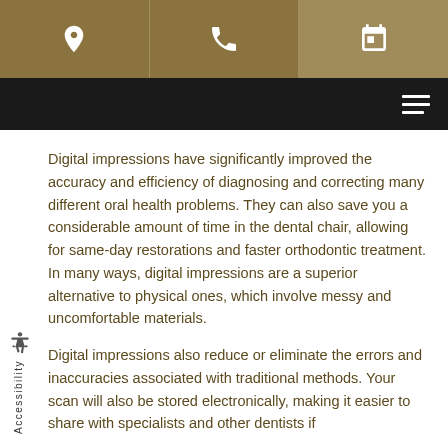[Header with location, phone, and calendar icons]
Digital impressions have significantly improved the accuracy and efficiency of diagnosing and correcting many different oral health problems. They can also save you a considerable amount of time in the dental chair, allowing for same-day restorations and faster orthodontic treatment. In many ways, digital impressions are a superior alternative to physical ones, which involve messy and uncomfortable materials.
Digital impressions also reduce or eliminate the errors and inaccuracies associated with traditional methods. Your scan will also be stored electronically, making it easier to share with specialists and other dentists if